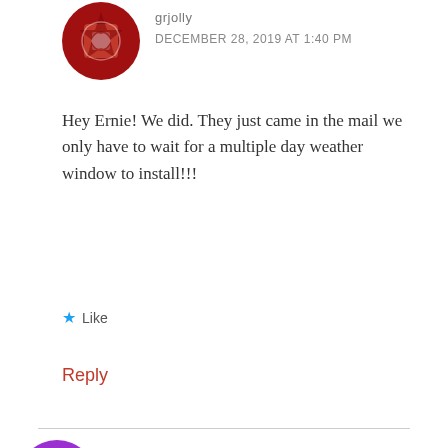grjolly
DECEMBER 28, 2019 AT 1:40 PM
Hey Ernie! We did. They just came in the mail we only have to wait for a multiple day weather window to install!!!
★ Like
Reply
Gregg Thorne
Privacy & Cookies: This site uses cookies. By continuing to use this website, you agree to their use.
To find out more, including how to control cookies, see here: Cookie Policy
Close and accept
you cook. My husband said he would try the veggies,